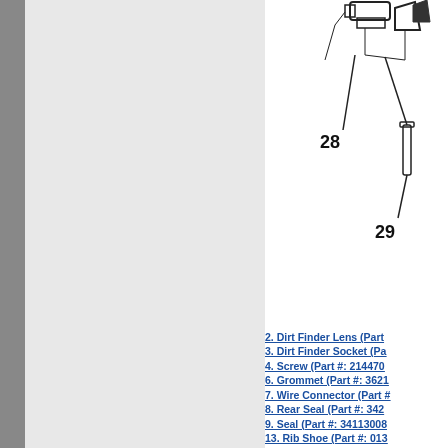[Figure (engineering-diagram): Partial engineering/parts diagram showing numbered components 28 and 29. Component 28 appears to be a cylindrical part and component 29 is a pin or rod. The diagram shows connecting lines and mechanical parts typical of a vacuum cleaner or appliance assembly.]
2. Dirt Finder Lens (Part...
3. Dirt Finder Socket (Pa...
4. Screw (Part #: 214470...
6. Grommet (Part #: 3621...
7. Wire Connector (Part #...
8. Rear Seal (Part #: 342...
9. Seal (Part #: 341130088...
13. Rib Shoe (Part #: 013...
14. Duct Cover (Part #: 3...
16. Screw (Part #: 21479-...
17. Seal (Part #: 34122012...
19. Nozzle Cover Conne...
19. Cable Tie (Part #: 274...
20. Retraction Spring (P...